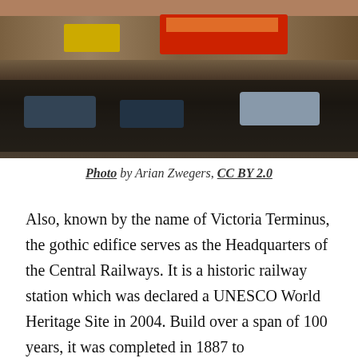[Figure (photo): Street scene with heavy traffic including red buses, yellow taxis, and dark cars on a busy road, likely in India near a railway station.]
Photo by Arian Zwegers, CC BY 2.0
Also, known by the name of Victoria Terminus, the gothic edifice serves as the Headquarters of the Central Railways. It is a historic railway station which was declared a UNESCO World Heritage Site in 2004. Build over a span of 100 years, it was completed in 1887 to commemorate the Golden Jubilee of Queen Victoria. It was designed by F.W. Stevens with the concept of Victorian Italianate Gothic Revival architecture and is today one of the